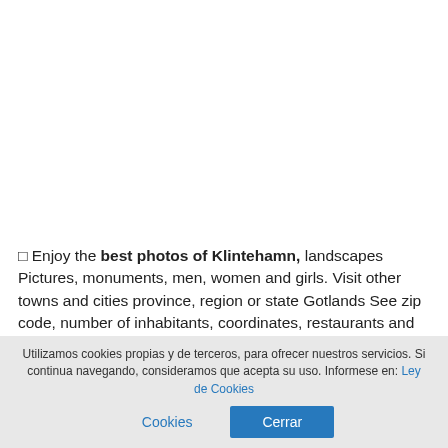🔲 Enjoy the best photos of Klintehamn, landscapes Pictures, monuments, men, women and girls. Visit other towns and cities province, region or state Gotlands See zip code, number of inhabitants, coordinates, restaurants and hotels
These are photos taken by their neighbors and tourists, In the vicinity of the following coordinates, latitude and longitude
Utilizamos cookies propias y de terceros, para ofrecer nuestros servicios. Si continua navegando, consideramos que acepta su uso. Informese en: Ley de Cookies  Cerrar